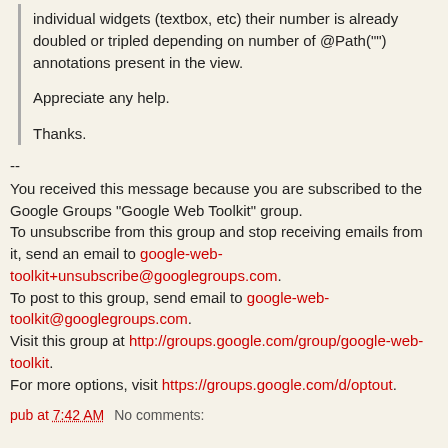individual widgets (textbox, etc) their number is already doubled or tripled depending on number of @Path("") annotations present in the view.

Appreciate any help.

Thanks.
--
You received this message because you are subscribed to the Google Groups "Google Web Toolkit" group.
To unsubscribe from this group and stop receiving emails from it, send an email to google-web-toolkit+unsubscribe@googlegroups.com.
To post to this group, send email to google-web-toolkit@googlegroups.com.
Visit this group at http://groups.google.com/group/google-web-toolkit.
For more options, visit https://groups.google.com/d/optout.
pub at 7:42 AM   No comments: